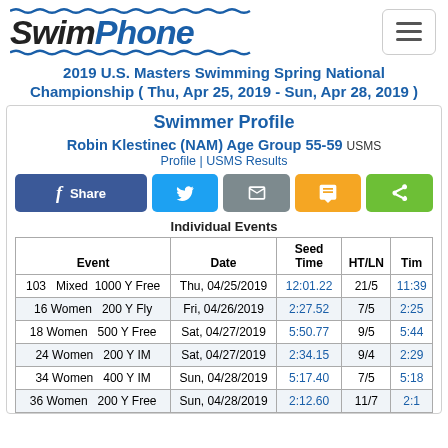SwimPhone logo and navigation
2019 U.S. Masters Swimming Spring National Championship ( Thu, Apr 25, 2019 - Sun, Apr 28, 2019 )
Swimmer Profile
Robin Klestinec (NAM) Age Group 55-59 USMS
Profile | USMS Results
Individual Events
| Event | Date | Seed Time | HT/LN | Tim |
| --- | --- | --- | --- | --- |
| 103  Mixed  1000 Y Free | Thu, 04/25/2019 | 12:01.22 | 21/5 | 11:39 |
| 16 Women  200 Y Fly | Fri, 04/26/2019 | 2:27.52 | 7/5 | 2:25 |
| 18 Women  500 Y Free | Sat, 04/27/2019 | 5:50.77 | 9/5 | 5:44 |
| 24 Women  200 Y IM | Sat, 04/27/2019 | 2:34.15 | 9/4 | 2:29 |
| 34 Women  400 Y IM | Sun, 04/28/2019 | 5:17.40 | 7/5 | 5:18 |
| 36 Women  200 Y Free | Sun, 04/28/2019 | 2:12.60 | 11/7 | 2:1 |